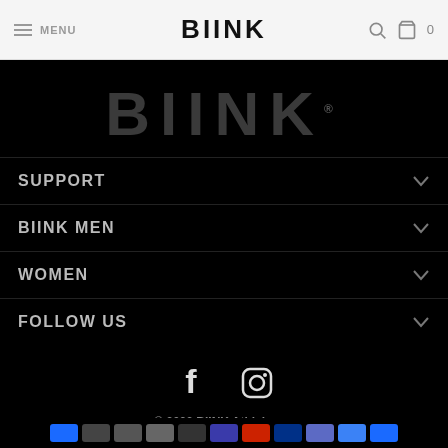MENU  BIINK  🔍 🛍 0
[Figure (logo): Large BIINK brand logo in dark gray on black background with registered trademark symbol]
SUPPORT
BIINK MEN
WOMEN
FOLLOW US
[Figure (illustration): Facebook and Instagram social media icons in white on black background]
© 2022 BIINK Athleisure.
Payment method icons: American Express, Apple Pay, Diners Club, Discover, Meta Pay, Google Pay, Mastercard, PayPal, Shop Pay, Venmo, Visa